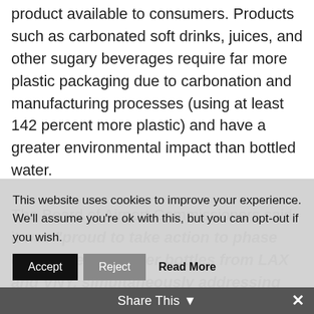product available to consumers. Products such as carbonated soft drinks, juices, and other sugary beverages require far more plastic packaging due to carbonation and manufacturing processes (using at least 142 percent more plastic) and have a greater environmental impact than bottled water.
The Board of Airport Commissioners said it was "proud to take action to phase out single-use water bottles from LAX and VNY, simultaneously addressing climate change
This website uses cookies to improve your experience. We'll assume you're ok with this, but you can opt-out if you wish.